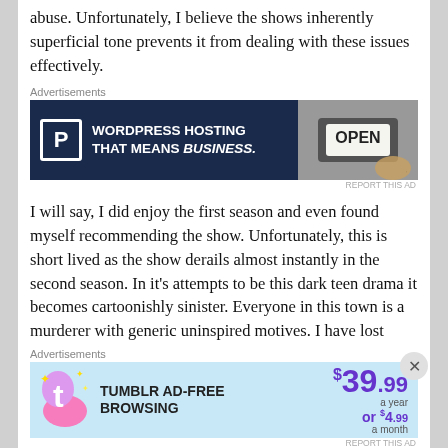abuse. Unfortunately, I believe the shows inherently superficial tone prevents it from dealing with these issues effectively.
Advertisements
[Figure (screenshot): WordPress hosting advertisement with dark navy background, P logo icon, text 'WORDPRESS HOSTING THAT MEANS BUSINESS.' and an image of an OPEN sign on the right.]
I will say, I did enjoy the first season and even found myself recommending the show. Unfortunately, this is short lived as the show derails almost instantly in the second season. In it's attempts to be this dark teen drama it becomes cartoonishly sinister. Everyone in this town is a murderer with generic uninspired motives. I have lost interest at this point and am forcing myself to
Advertisements
[Figure (screenshot): Tumblr ad-free browsing advertisement with light blue background, Tumblr 't' logo, text 'TUMBLR AD-FREE BROWSING', price shown as $39.99 a year or $4.99 a month in purple text.]